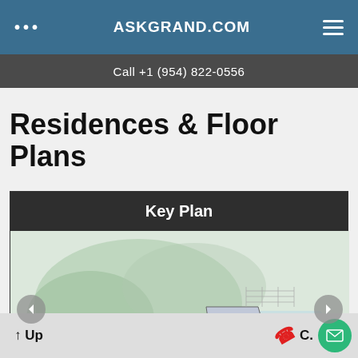ASKGRAND.COM
Call +1 (954) 822-0556
Residences & Floor Plans
Key Plan
[Figure (schematic): Architectural key plan / site floor plan showing building footprint with gray shaded sections and surrounding landscape in light green, with left and right navigation arrows.]
Up   C.